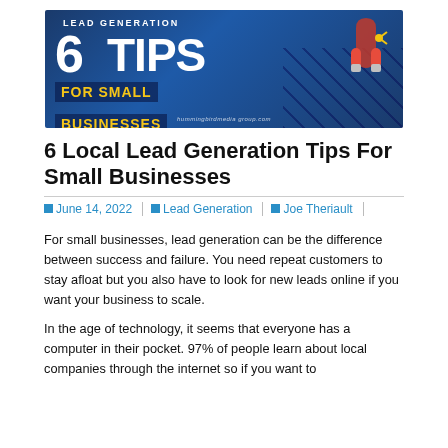[Figure (illustration): Banner image: Lead Generation 6 Tips For Small Businesses promotional graphic with blue background, large bold text, yellow highlights, and a magnet figure illustration. Domain: hummingbirdmedia group.com]
6 Local Lead Generation Tips For Small Businesses
June 14, 2022 | Lead Generation | Joe Theriault |
For small businesses, lead generation can be the difference between success and failure. You need repeat customers to stay afloat but you also have to look for new leads online if you want your business to scale.
In the age of technology, it seems that everyone has a computer in their pocket. 97% of people learn about local companies through the internet so if you want to...